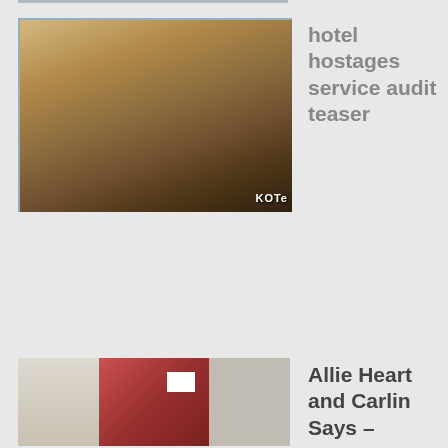[Figure (photo): Blurry thumbnail image with watermark text 'KOTe' in bottom right corner]
hotel hostages service audit teaser
[Figure (photo): Partial thumbnail showing a room interior with a colorful poster/flag on the right side]
Allie Heart and Carlin Says –